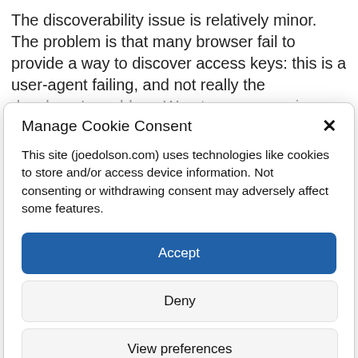The discoverability issue is relatively minor. The problem is that many browser fail to provide a way to discover access keys: this is a user-agent failing, and not really the developer's problem. Worst case scenario: nobody will use
Manage Cookie Consent
This site (joedolson.com) uses technologies like cookies to store and/or access device information. Not consenting or withdrawing consent may adversely affect some features.
Accept
Deny
View preferences
Cookie Policy   Privacy Policy